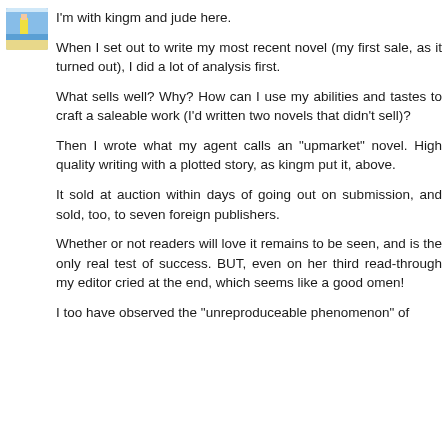[Figure (photo): Small avatar image showing a beach/seaside scene with a person in yellow]
I'm with kingm and jude here.
When I set out to write my most recent novel (my first sale, as it turned out), I did a lot of analysis first.
What sells well? Why? How can I use my abilities and tastes to craft a saleable work (I'd written two novels that didn't sell)?
Then I wrote what my agent calls an "upmarket" novel. High quality writing with a plotted story, as kingm put it, above.
It sold at auction within days of going out on submission, and sold, too, to seven foreign publishers.
Whether or not readers will love it remains to be seen, and is the only real test of success. BUT, even on her third read-through my editor cried at the end, which seems like a good omen!
I too have observed the "unreproduceable phenomenon" of